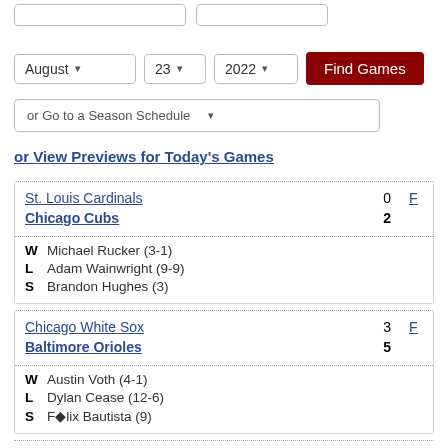August 23 2022 Find Games
or Go to a Season Schedule
or View Previews for Today's Games
| Team | Score | Status |
| --- | --- | --- |
| St. Louis Cardinals | 0 | F |
| Chicago Cubs | 2 |  |
| W | Michael Rucker (3-1) |  |
| L | Adam Wainwright (9-9) |  |
| S | Brandon Hughes (3) |  |
| Team | Score | Status |
| --- | --- | --- |
| Chicago White Sox | 3 | F |
| Baltimore Orioles | 5 |  |
| W | Austin Voth (4-1) |  |
| L | Dylan Cease (12-6) |  |
| S | Félix Bautista (9) |  |